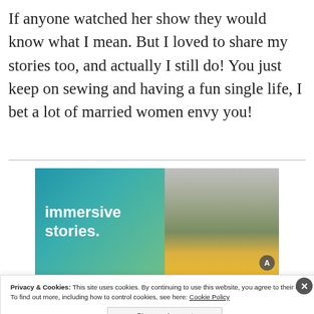If anyone watched her show they would know what I mean. But I loved to share my stories too, and actually I still do! You just keep on sewing and having a fun single life, I bet a lot of married women envy you!
[Figure (screenshot): Advertisement banner with blue-green gradient background showing text 'immersive stories.' on the left and a photo of a person in a yellow jacket near a waterfall on the right.]
Privacy & Cookies: This site uses cookies. By continuing to use this website, you agree to their use.
To find out more, including how to control cookies, see here: Cookie Policy
Close and accept